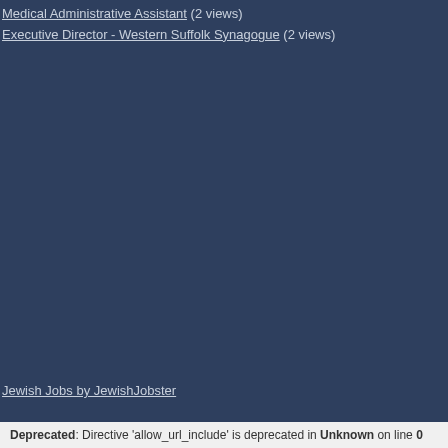Medical Administrative Assistant (2 views)
Executive Director - Western Suffolk Synagogue (2 views)
Jewish Jobs by JewishJobster
Deprecated: Directive 'allow_url_include' is deprecated in Unknown on line 0